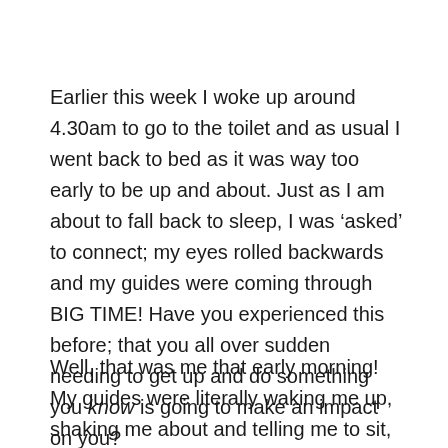Earlier this week I woke up around 4.30am to go to the toilet and as usual I went back to bed as it was way too early to be up and about. Just as I am about to fall back to sleep, I was ‘asked’ to connect; my eyes rolled backwards and my guides were coming through BIG TIME! Have you experienced this before; that you all over sudden needing to get up and do something you know is going to make an impact on you?
Well, that was me that early morning! My guides were literally waking me up, shaking me about and telling me to sit, be still and